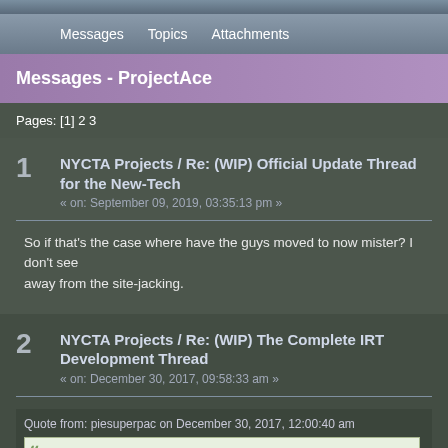Messages   Topics   Attachments
Messages - ProjectAce
Pages: [1] 2 3
1  NYCTA Projects / Re: (WIP) Official Update Thread for the New-Tech
« on: September 09, 2019, 03:35:13 pm »
So if that's the case where have the guys moved to now mister? I don't see
away from the site-jacking.
2  NYCTA Projects / Re: (WIP) The Complete IRT Development Thread
« on: December 30, 2017, 09:58:33 am »
Quote from: piesuperpac on December 30, 2017, 12:00:40 am
All those addface errors are from object bender and don't actually effect the route. Ma
Railway\Object. A lot of people have been putting objects in the wrong folder with this
LisaRaye2 and the Culver pack installed before you install the 5. When you install the
Trust me I've never had any issues with objects missing or anything before
before making a post here I double checked everything. Copied things a